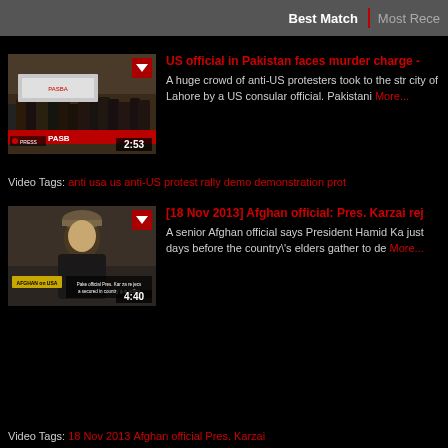Best Match | Most Recent
[Figure (screenshot): Video thumbnail showing anti-US protest crowd with banners, duration 2:53]
US official in Pakistan faces murder charge -
A huge crowd of anti-US protesters took to the streets in the city of Lahore by a US consular official. Pakistani More...
Video Tags: anti usa us anti-US protest rally demo demonstration prot
[Figure (screenshot): Video thumbnail showing Afghan official Karzai, duration 4:40]
[18 Nov 2013] Afghan official: Pres. Karzai rej
A senior Afghan official says President Hamid Ka just days before the country\'s elders gather to de More...
Video Tags: 18 Nov 2013 Afghan official Pres. Karzai